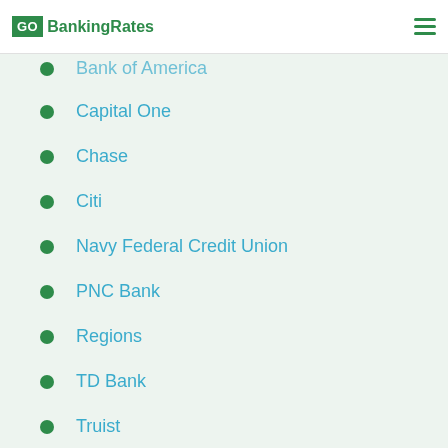GOBankingRates
Bank of America
Capital One
Chase
Citi
Navy Federal Credit Union
PNC Bank
Regions
TD Bank
Truist